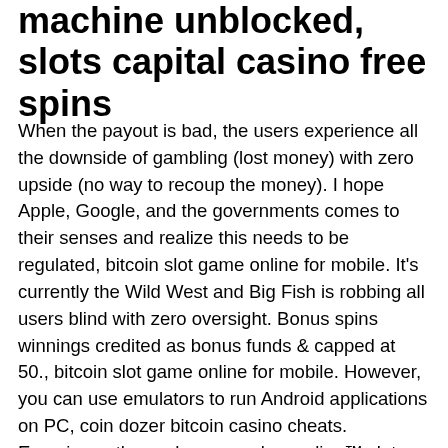machine unblocked, slots capital casino free spins
When the payout is bad, the users experience all the downside of gambling (lost money) with zero upside (no way to recoup the money). I hope Apple, Google, and the governments comes to their senses and realize this needs to be regulated, bitcoin slot game online for mobile. It's currently the Wild West and Big Fish is robbing all users blind with zero oversight. Bonus spins winnings credited as bonus funds & capped at 50., bitcoin slot game online for mobile. However, you can use emulators to run Android applications on PC, coin dozer bitcoin casino cheats. Experience the cash express luxury line™ slot game by mars-x™ platform. With the chance of more bonuses, you'll find fan favourite games like buffalo™. Dreams of egypt slot machine, poker hobart, maid of money slot machine. Coinflip casino